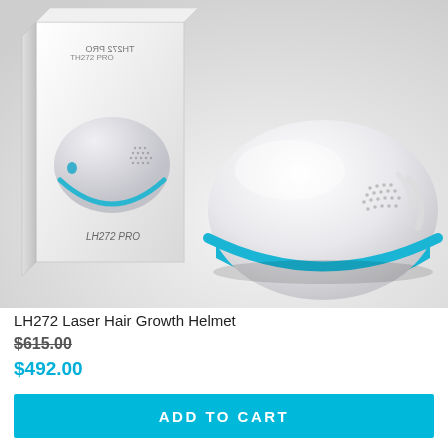[Figure (photo): LH272 Pro laser hair growth helmet product photo showing the white and blue helmet device next to its white retail box packaging on a light grey background]
LH272 Laser Hair Growth Helmet
$615.00
$492.00
ADD TO CART